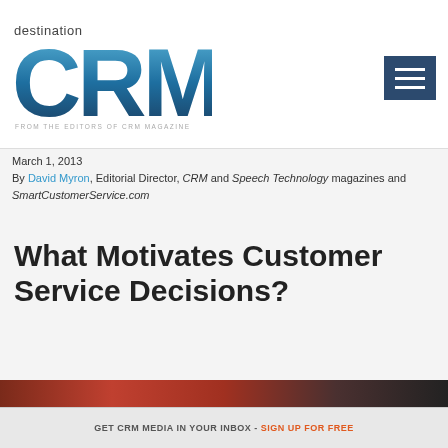destination CRM — FROM THE EDITORS OF CRM MAGAZINE
March 1, 2013
By David Myron, Editorial Director, CRM and Speech Technology magazines and SmartCustomerService.com
What Motivates Customer Service Decisions?
[Figure (photo): Partial color photograph strip at the bottom of the article preview area]
GET CRM MEDIA IN YOUR INBOX - SIGN UP FOR FREE